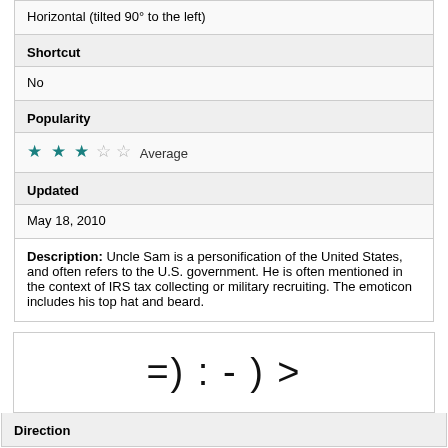Horizontal (tilted 90° to the left)
Shortcut
No
Popularity
★ ★ ★ ☆ ☆ Average
Updated
May 18, 2010
Description: Uncle Sam is a personification of the United States, and often refers to the U.S. government. He is often mentioned in the context of IRS tax collecting or military recruiting. The emoticon includes his top hat and beard.
[Figure (other): Emoticon text: =) : - ) >]
Direction